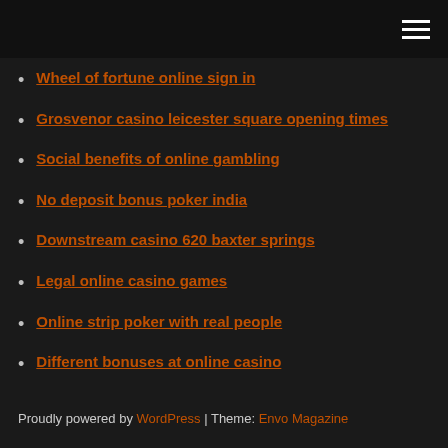Wheel of fortune online sign in
Grosvenor casino leicester square opening times
Social benefits of online gambling
No deposit bonus poker india
Downstream casino 620 baxter springs
Legal online casino games
Online strip poker with real people
Different bonuses at online casino
Comic 8 casino kings jadwal tayang
How to make casino centerpieces
Black label vs green label jack daniels
Proudly powered by WordPress | Theme: Envo Magazine